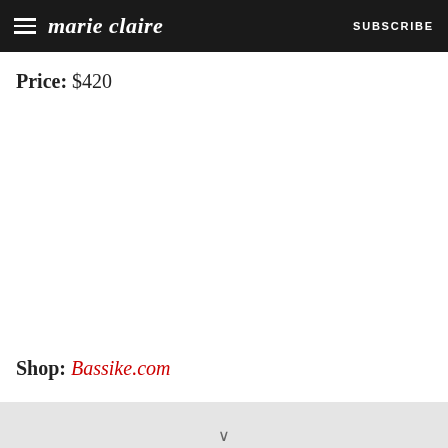marie claire  SUBSCRIBE
Price: $420
Shop: Bassike.com